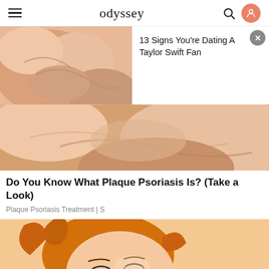odyssey
[Figure (photo): Close-up photo of skin/neck area (psoriasis ad image) with overlaid ad card showing text '13 Signs You're Dating A Taylor Swift Fan' with a close button]
[Figure (photo): Full-width close-up photo of skin/neck area]
Do You Know What Plaque Psoriasis Is? (Take a Look)
Plaque Psoriasis Treatment | S
[Figure (illustration): Anime/cartoon illustration of a character with orange hair lying down with eyes closed]